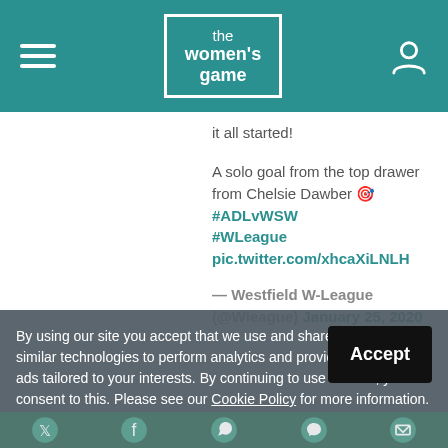the women's game
it all started!
A solo goal from the top drawer from Chelsie Dawber 🎯 #ADLvWSW #WLeague pic.twitter.com/xhcaXiLNLH
— Westfield W-League (@Wleague) January 25, 2020
By using our site you accept that we use and share cookies and similar technologies to perform analytics and provide content and ads tailored to your interests. By continuing to use our site, you consent to this. Please see our Cookie Policy for more information.